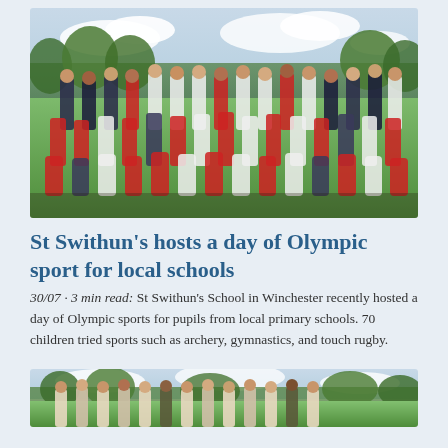[Figure (photo): Large group photo of approximately 70 children and adults posed on a grass field. Children are wearing a mix of red, white, and dark sportswear. Trees visible in background with cloudy sky.]
St Swithun’s hosts a day of Olympic sport for local schools
30/07 · 3 min read: St Swithun’s School in Winchester recently hosted a day of Olympic sports for pupils from local primary schools. 70 children tried sports such as archery, gymnastics, and touch rugby.
[Figure (photo): Partial photo at bottom of page showing a group of young women/girls standing on a grass field with trees in the background and a cloudy sky. Only the top portion of the photo is visible.]